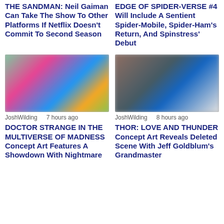THE SANDMAN: Neil Gaiman Can Take The Show To Other Platforms If Netflix Doesn't Commit To Second Season
EDGE OF SPIDER-VERSE #4 Will Include A Sentient Spider-Mobile, Spider-Ham's Return, And Spinstress' Debut
[Figure (photo): Blurred colorful comic book artwork image]
JoshWilding    7 hours ago
DOCTOR STRANGE IN THE MULTIVERSE OF MADNESS Concept Art Features A Showdown With Nightmare
[Figure (photo): Blurred indoor scene photo]
JoshWilding    8 hours ago
THOR: LOVE AND THUNDER Concept Art Reveals Deleted Scene With Jeff Goldblum's Grandmaster